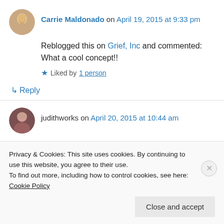Carrie Maldonado on April 19, 2015 at 9:33 pm
Reblogged this on Grief, Inc and commented: What a cool concept!!
Liked by 1 person
↳ Reply
judithworks on April 20, 2015 at 10:44 am
Privacy & Cookies: This site uses cookies. By continuing to use this website, you agree to their use.
To find out more, including how to control cookies, see here: Cookie Policy
Close and accept